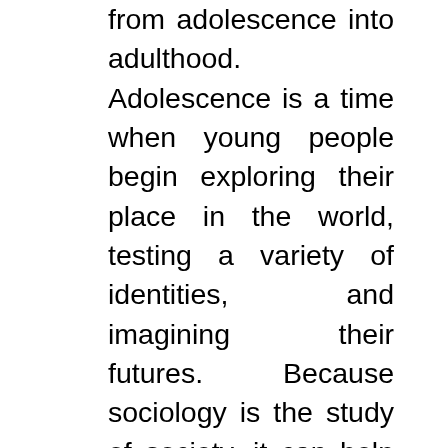from adolescence into adulthood. Adolescence is a time when young people begin exploring their place in the world, testing a variety of identities, and imagining their futures. Because sociology is the study of society, it can help adolescents understand their own world and the world of adults as they begin to plan for their future educational plans and occupational choices. Sociology is concerned with topics of particular interest to adolescents, such as peer groups, deviance, inequality, cultures, subcultures, marital formation and substance abuse. These topics are also developmentally relevant to young adults as they transition from their families and high school into the freedom and responsibilities of college life and the labor force. Sociology courses provide opportunities to extend and deepen analytic skills critical to successful transitions from high school to postsecondary education and beyond. By emphasizing the use of scientific evidence to investigate, quantify and interpret phenomena that occur in the social world,